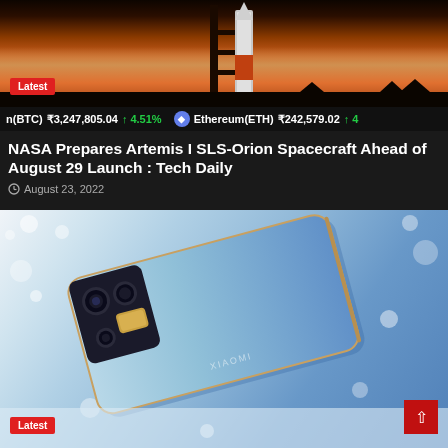[Figure (photo): Rocket on launch pad at sunset with orange sky background]
n(BTC) ₹3,247,805.04 ↑ 4.51% Ethereum(ETH) ₹242,579.02 ↑ 4
NASA Prepares Artemis I SLS-Orion Spacecraft Ahead of August 29 Launch : Tech Daily
August 23, 2022
[Figure (photo): Blue gradient smartphone lying flat on a glittery silver surface with bokeh background]